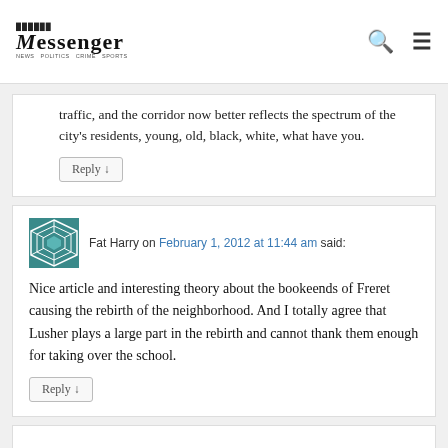Messenger
traffic, and the corridor now better reflects the spectrum of the city's residents, young, old, black, white, what have you.
Reply ↓
Fat Harry on February 1, 2012 at 11:44 am said:
Nice article and interesting theory about the bookeends of Freret causing the rebirth of the neighborhood. And I totally agree that Lusher plays a large part in the rebirth and cannot thank them enough for taking over the school.
Reply ↓